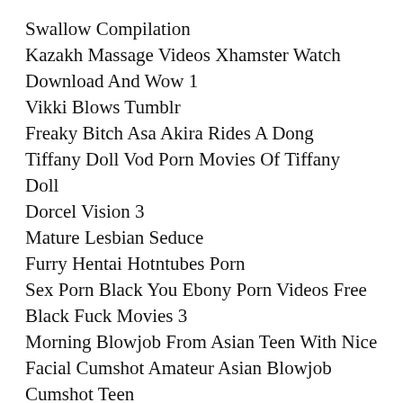Swallow Compilation
Kazakh Massage Videos Xhamster Watch Download And Wow 1
Vikki Blows Tumblr
Freaky Bitch Asa Akira Rides A Dong
Tiffany Doll Vod Porn Movies Of Tiffany Doll
Dorcel Vision 3
Mature Lesbian Seduce
Furry Hentai Hotntubes Porn
Sex Porn Black You Ebony Porn Videos Free Black Fuck Movies 3
Morning Blowjob From Asian Teen With Nice Facial Cumshot Amateur Asian Blowjob Cumshot Teen
Angel Eyes Cop Xxx
Emma Watson Nude Emma Watson Naked Pics